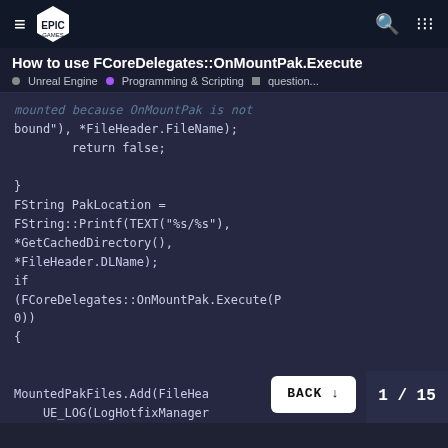Epic Games logo, hamburger menu, search icon, grid icon
How to use FCoreDelegates::OnMountPak.Execute
Unreal Engine • Programming & Scripting ■ question...
mounted because OnMountPak is not bound"), *FileHeader.FileName);
        return false;
}
FString PakLocation =
FString::Printf(TEXT("%s/%s"),
*GetCachedDirectory(),
*FileHeader.DLName);
if
(FCoreDelegates::OnMountPak.Execute(P
0))
{


MountedPakFiles.Add(FileHea
    UE_LOG(LogHotfixManager